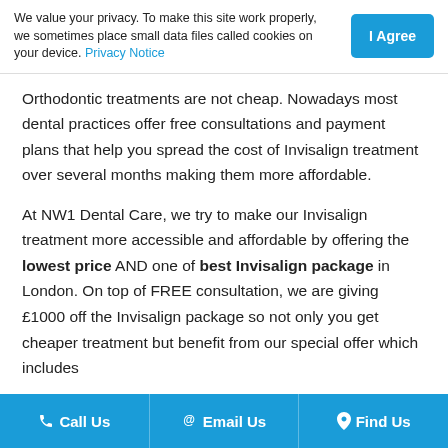We value your privacy. To make this site work properly, we sometimes place small data files called cookies on your device. Privacy Notice
Orthodontic treatments are not cheap. Nowadays most dental practices offer free consultations and payment plans that help you spread the cost of Invisalign treatment over several months making them more affordable.
At NW1 Dental Care, we try to make our Invisalign treatment more accessible and affordable by offering the lowest price AND one of best Invisalign package in London. On top of FREE consultation, we are giving £1000 off the Invisalign package so not only you get cheaper treatment but benefit from our special offer which includes
Call Us   @ Email Us   Find Us